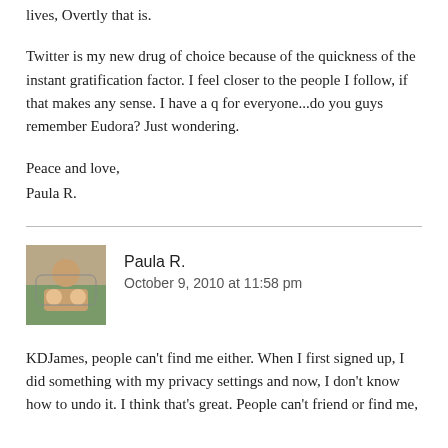lives, Overtly that is.
Twitter is my new drug of choice because of the quickness of the instant gratification factor. I feel closer to the people I follow, if that makes any sense. I have a q for everyone...do you guys remember Eudora? Just wondering.
Peace and love,
Paula R.
Paula R.
October 9, 2010 at 11:58 pm
KDJames, people can't find me either. When I first signed up, I did something with my privacy settings and now, I don't know how to undo it. I think that's great. People can't friend or find me,